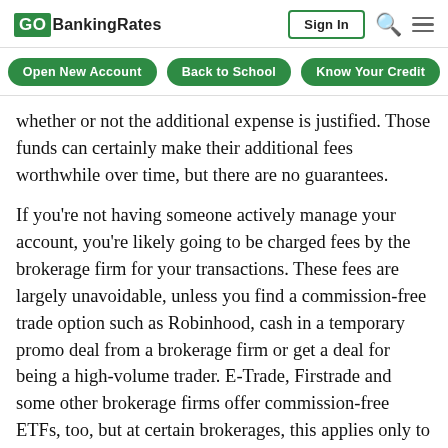GOBankingRates | Sign In
Open New Account | Back to School | Know Your Credit
whether or not the additional expense is justified. Those funds can certainly make their additional fees worthwhile over time, but there are no guarantees.
If you're not having someone actively manage your account, you're likely going to be charged fees by the brokerage firm for your transactions. These fees are largely unavoidable, unless you find a commission-free trade option such as Robinhood, cash in a temporary promo deal from a brokerage firm or get a deal for being a high-volume trader. E-Trade, Firstrade and some other brokerage firms offer commission-free ETFs, too, but at certain brokerages, this applies only to their own ETFs — they'll charge you otherwise. So, this option might not make sense for you if you're not planning to stay within the same brokerage firm for all of your investments.